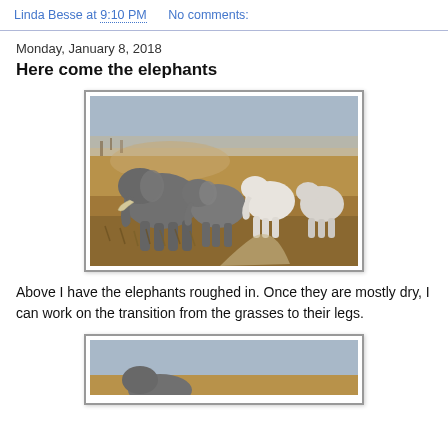Linda Besse at 9:10 PM   No comments:
Monday, January 8, 2018
Here come the elephants
[Figure (photo): Painting in progress showing a herd of elephants walking through dry savanna grasses, with some elephants rendered in detail and others as white/unpainted silhouettes on the right side.]
Above I have the elephants roughed in. Once they are mostly dry, I can work on the transition from the grasses to their legs.
[Figure (photo): Partial view of another painting or a closer view showing the lower portion with savanna landscape and blue sky at top.]